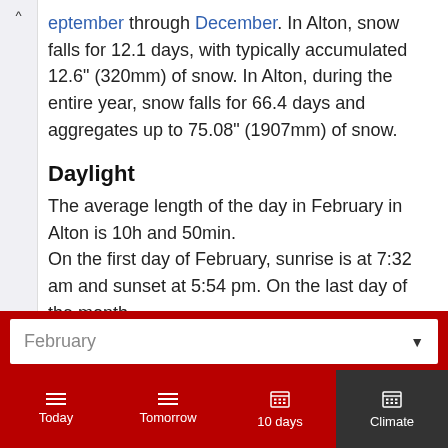eptember through December. In Alton, snow falls for 12.1 days, with typically accumulated 12.6" (320mm) of snow. In Alton, during the entire year, snow falls for 66.4 days and aggregates up to 75.08" (1907mm) of snow.
Daylight
The average length of the day in February in Alton is 10h and 50min. On the first day of February, sunrise is at 7:32 am and sunset at 5:54 pm. On the last day of the month...
February